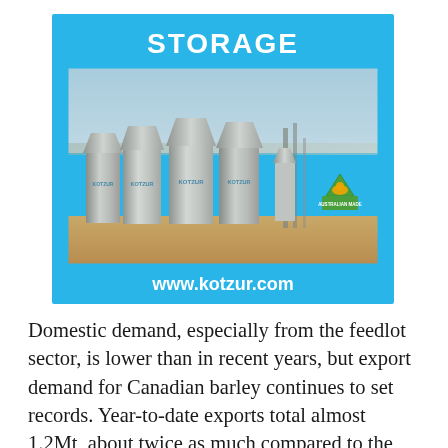[Figure (photo): Advertisement for Kotzur grain storage silos. Blue background with bold white 'STORAGE' heading. Photo shows four large galvanized steel grain silos in an arid landscape with blue sky. Australian Made logo in bottom-right corner. URL www.kotzur.com displayed in white bold text at bottom.]
Domestic demand, especially from the feedlot sector, is lower than in recent years, but export demand for Canadian barley continues to set records. Year-to-date exports total almost 1.2Mt, about twice as much compared to the same time last year, and has led to a tightening of